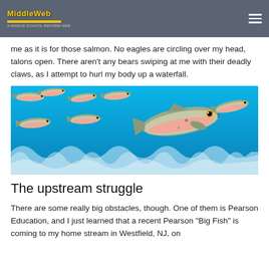MiddleWeb
me as it is for those salmon. No eagles are circling over my head, talons open. There aren't any bears swiping at me with their deadly claws, as I attempt to hurl my body up a waterfall.
[Figure (illustration): Illustration of cartoon salmon leaping upstream through stylized blue waves]
The upstream struggle
There are some really big obstacles, though. One of them is Pearson Education, and I just learned that a recent Pearson "Big Fish" is coming to my home stream in Westfield, NJ, on